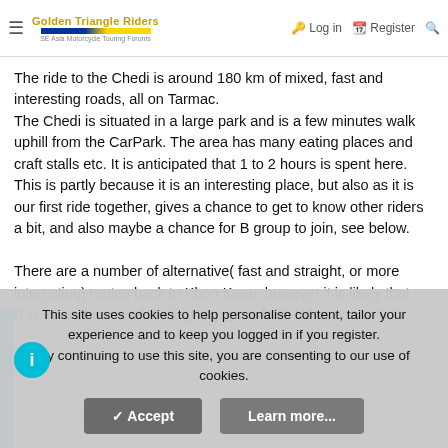Stay on this road until it joins Sri Chan road, also called 209. Turn left... along Yoong... Meet at Shell station on left after 400M.
Golden Triangle Riders — SE Asia Motorcycle Touring Forums | Log in | Register
The ride to the Chedi is around 180 km of mixed, fast and interesting roads, all on Tarmac. The Chedi is situated in a large park and is a few minutes walk uphill from the CarPark. The area has many eating places and craft stalls etc. It is anticipated that 1 to 2 hours is spent here. This is partly because it is an interesting place, but also as it is our first ride together, gives a chance to get to know other riders a bit, and also maybe a chance for B group to join, see below.
There are a number of alternative( fast and straight, or more interesting) routes back to Khon Kaen, however it is likely that Ray 23 and some of the B group guys from Udon may join in.
This site uses cookies to help personalise content, tailor your experience and to keep you logged in if you register. By continuing to use this site, you are consenting to our use of cookies.